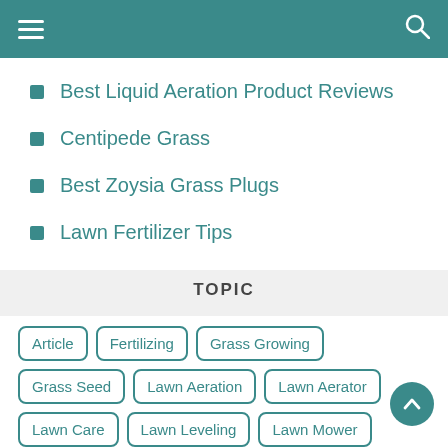Navigation header with hamburger menu and search icon
Best Liquid Aeration Product Reviews
Centipede Grass
Best Zoysia Grass Plugs
Lawn Fertilizer Tips
TOPIC
Article
Fertilizing
Grass Growing
Grass Seed
Lawn Aeration
Lawn Aerator
Lawn Care
Lawn Leveling
Lawn Mower
Lawn Mower Oil
Lawn Mower Repair
Lawn Mowing
Lawn Sprinkler